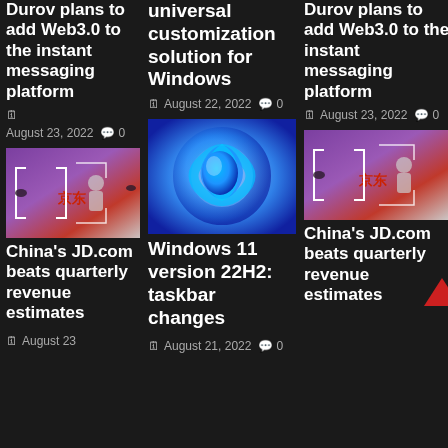Durov plans to add Web3.0 to the instant messaging platform
August 23, 2022  0
[Figure (photo): JD.com promotional event thumbnail]
China's JD.com beats quarterly revenue estimates
August 23
universal customization solution for Windows
August 22, 2022  0
[Figure (photo): Windows 11 blue swirl logo]
Windows 11 version 22H2: taskbar changes
August 21, 2022  0
Durov plans to add Web3.0 to the instant messaging platform
August 23, 2022  0
[Figure (photo): JD.com promotional event thumbnail]
China's JD.com beats quarterly revenue estimates